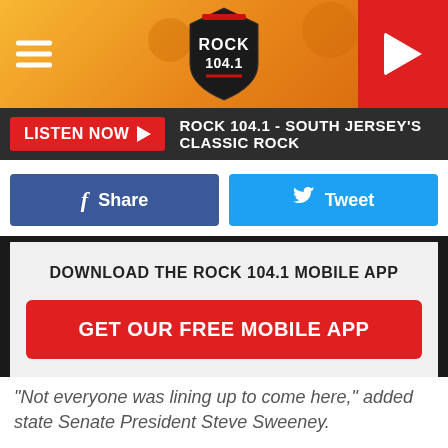[Figure (screenshot): Rock 104.1 radio station mobile app header with orange/gradient background, hamburger menu on left, Rock 104.1 guitar pick logo in center, red play button on right]
LISTEN NOW ▶   ROCK 104.1 - SOUTH JERSEY'S CLASSIC ROCK
f Share   🐦 Tweet
DOWNLOAD THE ROCK 104.1 MOBILE APP
GET OUR FREE MOBILE APP
"Not everyone was lining up to come here," added state Senate President Steve Sweeney.
Bill Sumas, chairman of Village Super Market, would not say after the ceremony whether the project could have been done without public financing. Village, a publicly traded company with sales of over $1.6 billion annually, operates 30 ShopRite